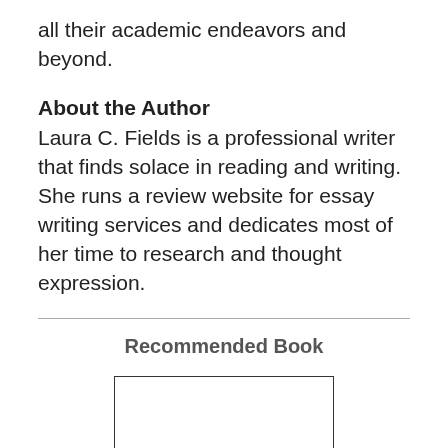all their academic endeavors and beyond.
About the Author
Laura C. Fields is a professional writer that finds solace in reading and writing. She runs a review website for essay writing services and dedicates most of her time to research and thought expression.
Recommended Book
[Figure (other): A rectangular box representing a book image placeholder]